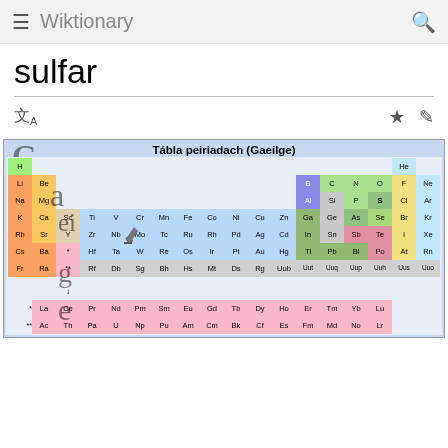Wiktionary
sulfar
[Figure (table-as-image): Periodic table of elements in Irish (Gaeilge) — Tábla peiriadach (Gaeilge) — showing all elements with color coding by element category, with sulfur (S) highlighted.]